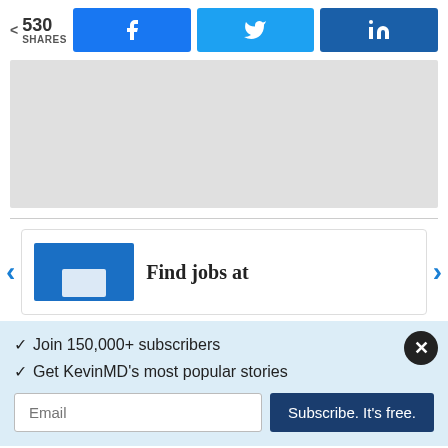< 530 SHARES
[Figure (screenshot): Facebook share button (blue)]
[Figure (screenshot): Twitter share button (light blue)]
[Figure (screenshot): LinkedIn share button (dark blue)]
[Figure (screenshot): Gray advertisement placeholder rectangle]
[Figure (screenshot): Carousel card with blue image and 'Find jobs at' text, with left and right navigation arrows]
✓ Join 150,000+ subscribers
✓ Get KevinMD's most popular stories
Email [input] Subscribe. It's free. [button]